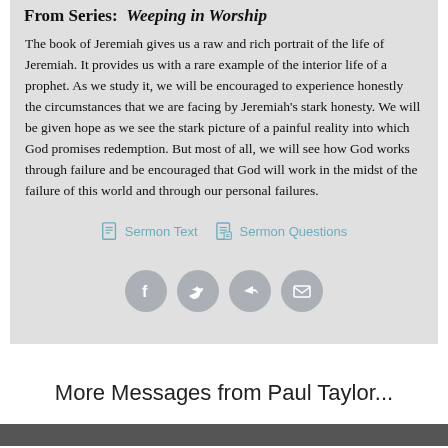From Series: Weeping in Worship
The book of Jeremiah gives us a raw and rich portrait of the life of Jeremiah. It provides us with a rare example of the interior life of a prophet. As we study it, we will be encouraged to experience honestly the circumstances that we are facing by Jeremiah's stark honesty. We will be given hope as we see the stark picture of a painful reality into which God promises redemption. But most of all, we will see how God works through failure and be encouraged that God will work in the midst of the failure of this world and through our personal failures.
Sermon Text
Sermon Questions
[Figure (infographic): Four circular social share buttons: Facebook, Twitter, Share/forward, Email]
More Messages from Paul Taylor...
[Figure (photo): Bottom image bar, partially visible]